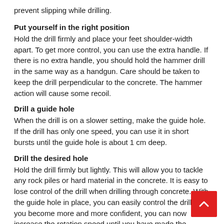prevent slipping while drilling.
Put yourself in the right position
Hold the drill firmly and place your feet shoulder-width apart. To get more control, you can use the extra handle. If there is no extra handle, you should hold the hammer drill in the same way as a handgun. Care should be taken to keep the drill perpendicular to the concrete. The hammer action will cause some recoil.
Drill a guide hole
When the drill is on a slower setting, make the guide hole. If the drill has only one speed, you can use it in short bursts until the guide hole is about 1 cm deep.
Drill the desired hole
Hold the drill firmly but lightly. This will allow you to tackle any rock piles or hard material in the concrete. It is easy to lose control of the drill when drilling through concrete. With the guide hole in place, you can easily control the drill. As you become more and more confident, you can now increase the rotation speed until you have made the complete hole.
Remove debris/grit
It is advisable to pull the drill back after every 10 seconds to remove the debris from the hole. This will allow the drill to continue working in the hard concrete without being bothered by the grit.